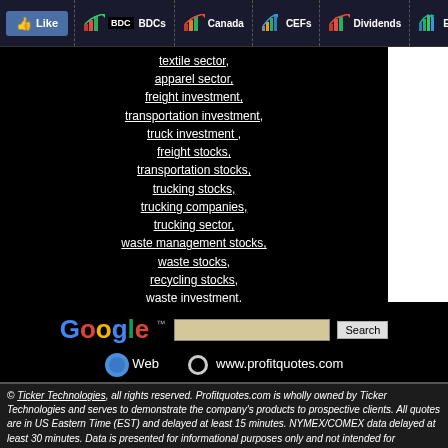Like | BDCs | Canada | CEFs | Dividends | Energy | B...
textile sector,
apparel sector,
freight investment,
transportation investment,
truck investment ,
freight stocks,
transportation stocks,
trucking stocks,
trucking companies,
trucking sector,
waste management stocks,
waste stocks,
recycling stocks,
waste investment,
waste companies,
waste sector,
water stocks,
water utilities,
water investing,
water investment,
water companies,
water sector
[Figure (screenshot): Google search bar with Web and www.profitquotes.com radio button options]
© Ticker Technologies, all rights reserved. Profitquotes.com is wholly owned by Ticker Technologies and serves to demonstrate the company's products to prospective clients. All quotes are in US Eastern Time (EST) and delayed at least 15 minutes. NYMEX/COMEX data delayed at least 30 minutes. Data is presented for informational purposes only and not intended for investment...